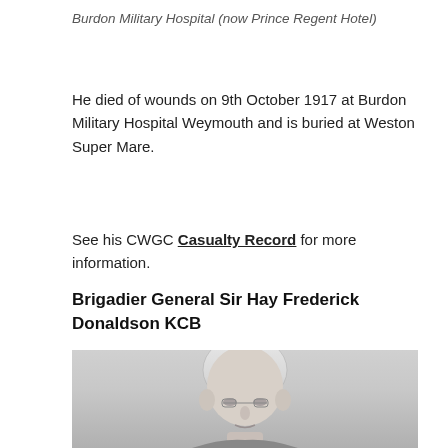Burdon Military Hospital (now Prince Regent Hotel)
He died of wounds on 9th October 1917 at Burdon Military Hospital Weymouth and is buried at Weston Super Mare.
See his CWGC Casualty Record for more information.
Brigadier General Sir Hay Frederick Donaldson KCB
[Figure (photo): Black and white portrait photograph of Brigadier General Sir Hay Frederick Donaldson KCB, showing a bald elderly man wearing pince-nez glasses, photographed from the chest up.]